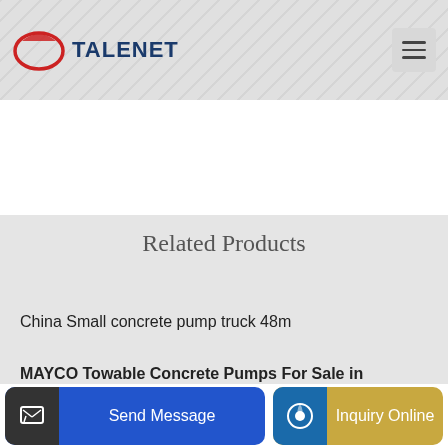TALENET
Related Products
China Small concrete pump truck 48m
MAYCO Towable Concrete Pumps For Sale in NAZARETH
oncre
Send Message
Inquiry Online